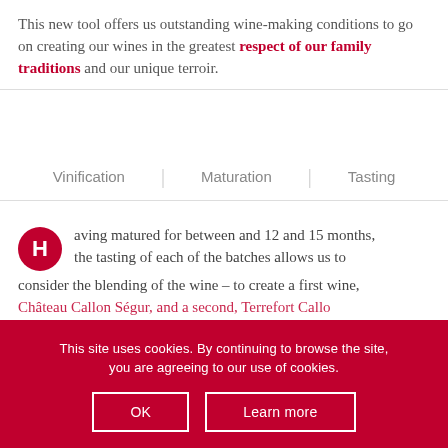This new tool offers us outstanding wine-making conditions to go on creating our wines in the greatest respect of our family traditions and our unique terroir.
Vinification | Maturation | Tasting
Having matured for between and 12 and 15 months, the tasting of each of the batches allows us to consider the blending of the wine – to create a first wine, Château Callon Ségur, and a second, Terrefort Callon...
This site uses cookies. By continuing to browse the site, you are agreeing to our use of cookies.
irreversibly the state of the wine. For this process, we hire an assembly line which we place directly in the storage